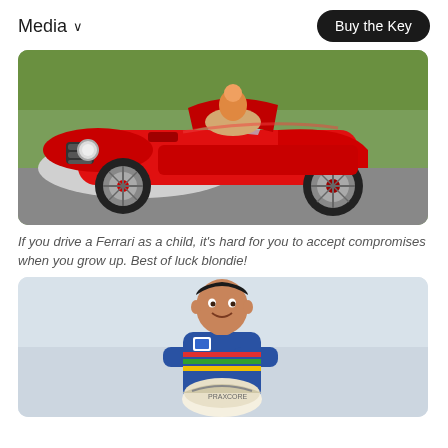Media
[Figure (photo): A red vintage-style miniature Ferrari sports car (pedal car / small electric) on pavement with grass in background. A child in orange can be partially seen in the seat. The car has chrome wire wheels and a classic roadster body.]
If you drive a Ferrari as a child, it's hard for you to accept compromises when you grow up. Best of luck blondie!
[Figure (photo): A young boy in a blue racing jumpsuit with colorful stripes sits smiling, arms crossed, with a racing helmet in front of him. Light/white background.]